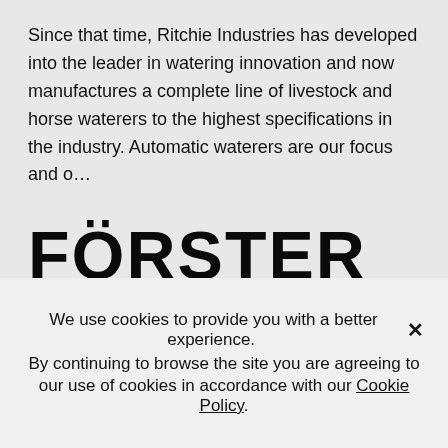Since that time, Ritchie Industries has developed into the leader in watering innovation and now manufactures a complete line of livestock and horse waterers to the highest specifications in the industry. Automatic waterers are our focus and o...
[Figure (logo): Förster Technik logo in black on light grey background, with a stylized funnel/trapezoid icon between the two words]
Förster-Technik offers future-oriented solutions and
We use cookies to provide you with a better experience. ✕ By continuing to browse the site you are agreeing to our use of cookies in accordance with our Cookie Policy.